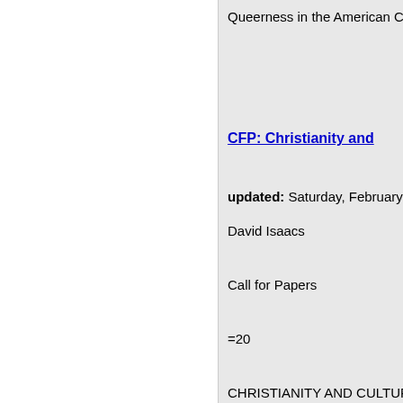Queerness in the American C
CFP: Christianity and
updated: Saturday, February
David Isaacs
Call for Papers
=20
CHRISTIANITY AND CULTURE
Through the Wardrobe: Engag
Key Note Speaker: Stanley Ma
Foundation
California Baptist University,
<http://www.book-conference